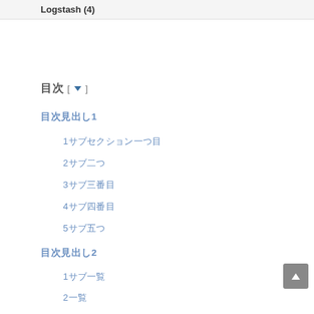Logstash (4)
目次 [ ▼ ]
目次見出し1
1サブセクション一つ目
2サブ二つ
3サブ三番目
4サブ四番目
5サブ五つ
目次見出し2
1サブ一覧
2一覧
3サブセクション三
4サブ四